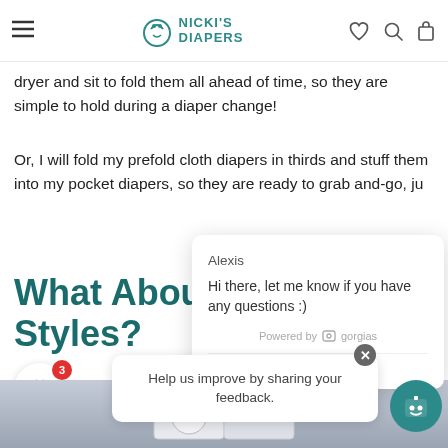Nicki's Diapers
dryer and sit to fold them all ahead of time, so they are simple to hold during a diaper change!
Or, I will fold my prefold cloth diapers in thirds and stuff them into my pocket diapers, so they are ready to grab and-go, ju
What Abou Styles?
[Figure (screenshot): Chat popup with agent name Alexis and message: Hi there, let me know if you have any questions :) Powered by gorgias. Click to reply input area.]
[Figure (photo): White cloth diapers product photo on blue-grey background]
Help us improve by sharing your feedback.